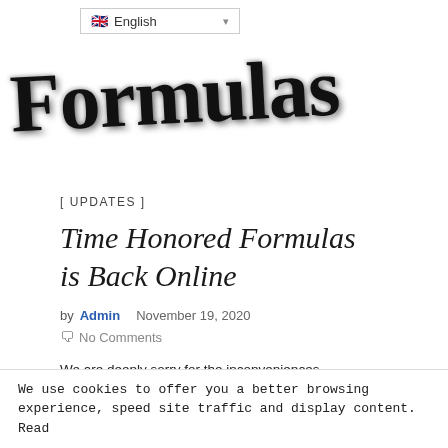[Figure (screenshot): Language selector dropdown showing UK flag and 'English' text with dropdown arrow]
[Figure (logo): Formulas website logo in large cursive/brush script font with shadow effect]
[ UPDATES ]
Time Honored Formulas is Back Online
by Admin   November 19, 2020
No Comments
We are deeply sorry for the inconveniences with our website. Our server suffered a terrible outage keeping us down for over 6 days, and it
We use cookies to offer you a better browsing experience, speed site traffic and display content. Read